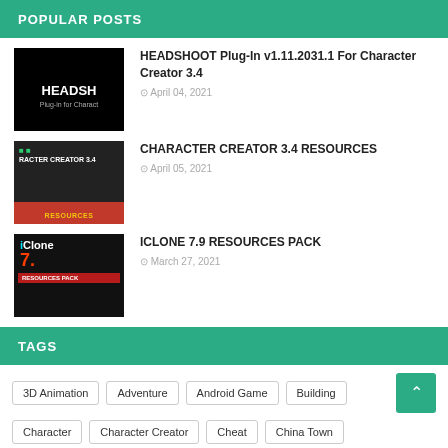POPULAR POSTS
[Figure (photo): Headshoot Plugin thumbnail - black background with white bold text HEADSH and subtitle Plug-In for Character]
HEADSHOOT Plug-In v1.11.2031.1 For Character Creator 3.4
April 04, 2021
[Figure (photo): Character Creator 3.4 Resources thumbnail - dark background with green icons and red bar at bottom with yellow text RESOURCES]
CHARACTER CREATOR 3.4 RESOURCES
April 05, 2021
[Figure (photo): iClone 7.9 Resources Pack thumbnail - dark background with iClone 7 logo in cyan and red Resources Pack bar]
ICLONE 7.9 RESOURCES PACK
March 27, 2021
TAGS
3D Animation
Adventure
Android Game
Building
Character
Character Creator
Cheat
China Town